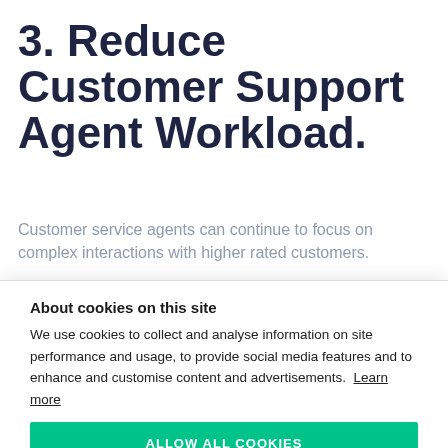3. Reduce Customer Support Agent Workload.
Customer service agents can continue to focus on complex interactions with higher rated customers.
About cookies on this site
We use cookies to collect and analyse information on site performance and usage, to provide social media features and to enhance and customise content and advertisements. Learn more
ALLOW ALL COOKIES
COOKIE SETTINGS